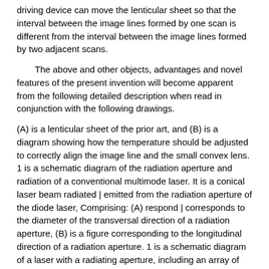driving device can move the lenticular sheet so that the interval between the image lines formed by one scan is different from the interval between the image lines formed by two adjacent scans.
The above and other objects, advantages and novel features of the present invention will become apparent from the following detailed description when read in conjunction with the following drawings.
(A) is a lenticular sheet of the prior art, and (B) is a diagram showing how the temperature should be adjusted to correctly align the image line and the small convex lens. 1 is a schematic diagram of the radiation aperture and radiation of a conventional multimode laser. It is a conical laser beam radiated | emitted from the radiation aperture of the diode laser, Comprising: (A) respond | corresponds to the diameter of the transversal direction of a radiation aperture, (B) is a figure corresponding to the longitudinal direction of a radiation aperture. 1 is a schematic diagram of a laser with a radiating aperture, including an array of small apertures. 6 is a schematic illustration of the direction of a multimode diode laser scan point during scanning of a lenticular sheet in the fast scanning direction of